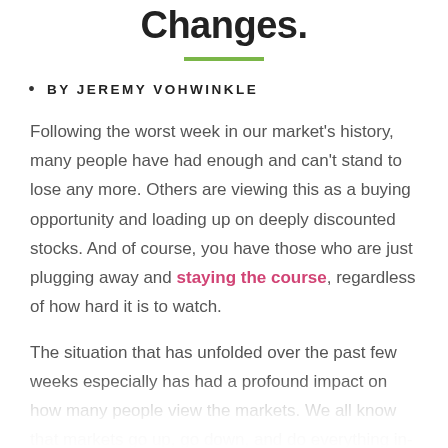Changes.
BY JEREMY VOHWINKLE
Following the worst week in our market's history, many people have had enough and can't stand to lose any more. Others are viewing this as a buying opportunity and loading up on deeply discounted stocks. And of course, you have those who are just plugging away and staying the course, regardless of how hard it is to watch.
The situation that has unfolded over the past few weeks especially has had a profound impact on how many people view the markets. We all know that markets go up, go down, and do everything in-